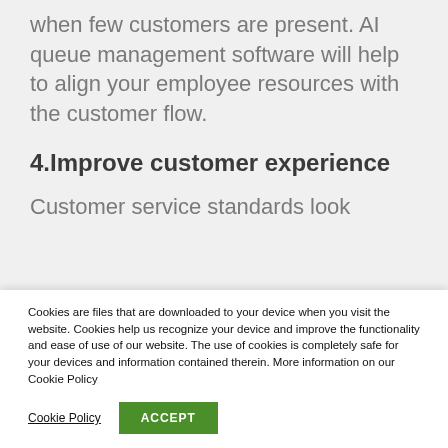when few customers are present. AI queue management software will help to align your employee resources with the customer flow.
4.Improve customer experience
Customer service standards look
Cookies are files that are downloaded to your device when you visit the website. Cookies help us recognize your device and improve the functionality and ease of use of our website. The use of cookies is completely safe for your devices and information contained therein. More information on our Cookie Policy